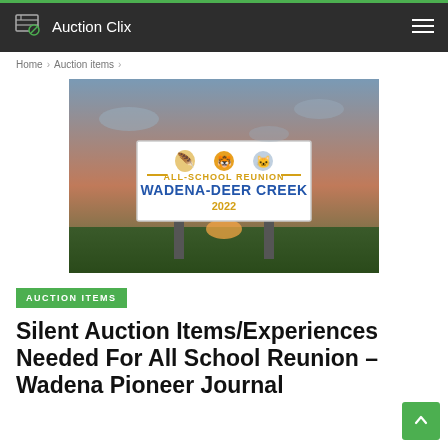Auction Clix
Home > Auction items >
[Figure (photo): A billboard against a sunset sky reading ALL-SCHOOL REUNION WADENA-DEER CREEK 2022, with school mascot logos above the text.]
AUCTION ITEMS
Silent Auction Items/Experiences Needed For All School Reunion – Wadena Pioneer Journal